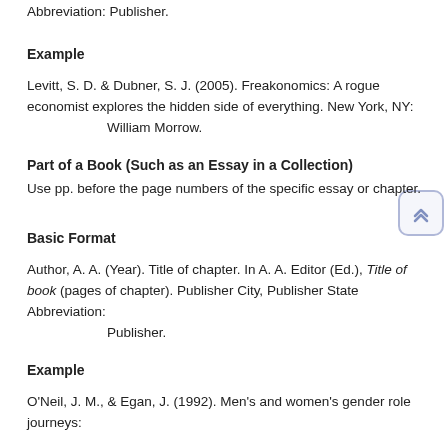Author, A. A. (Year). Title of book. Publisher City, Publisher State Abbreviation: Publisher.
Example
Levitt, S. D. & Dubner, S. J. (2005). Freakonomics: A rogue economist explores the hidden side of everything. New York, NY: William Morrow.
Part of a Book (Such as an Essay in a Collection)
Use pp. before the page numbers of the specific essay or chapter.
Basic Format
Author, A. A. (Year). Title of chapter. In A. A. Editor (Ed.), Title of book (pages of chapter). Publisher City, Publisher State Abbreviation: Publisher.
Example
O'Neil, J. M., & Egan, J. (1992). Men's and women's gender role journeys: